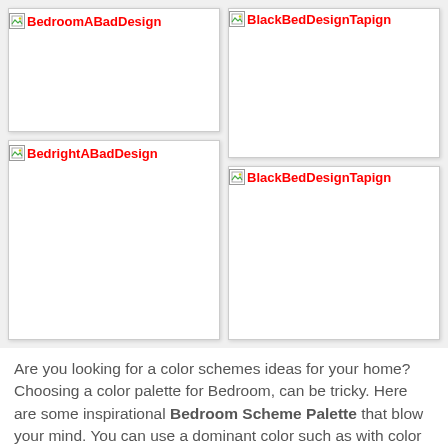[Figure (photo): Top-left image placeholder with broken image icon and red label 'BedroomABadDesign']
[Figure (photo): Top-right image placeholder with broken image icon and red label 'BlackBedDesignTapign']
[Figure (photo): Bottom-left image placeholder with broken image icon and red label 'BedrightABadDesign']
[Figure (photo): Bottom-right image placeholder with broken image icon and red label 'BlackBedDesignTapign']
Are you looking for a color schemes ideas for your home? Choosing a color palette for Bedroom, can be tricky. Here are some inspirational Bedroom Scheme Palette that blow your mind. You can use a dominant color such as with color code (HEX : #c0c0c0 and RGB : (192, 192, 192) to get the atmosphere you desire. This is some generic